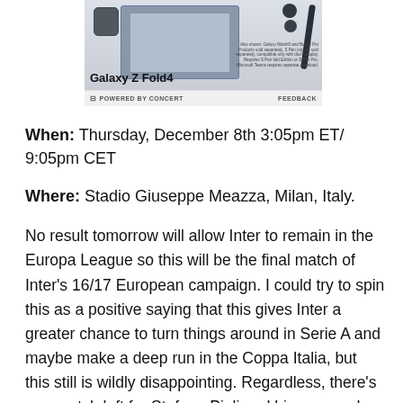[Figure (other): Advertisement for Samsung Galaxy Z Fold4 showing device with smartwatch and earbuds, with 'POWERED BY CONCERT' and 'FEEDBACK' footer]
When: Thursday, December 8th 3:05pm ET/ 9:05pm CET
Where: Stadio Giuseppe Meazza, Milan, Italy.
No result tomorrow will allow Inter to remain in the Europa League so this will be the final match of Inter's 16/17 European campaign. I could try to spin this as a positive saying that this gives Inter a greater chance to turn things around in Serie A and maybe make a deep run in the Coppa Italia, but this still is wildly disappointing. Regardless, there's one match left for Stefano Pioli and his men and though the final score